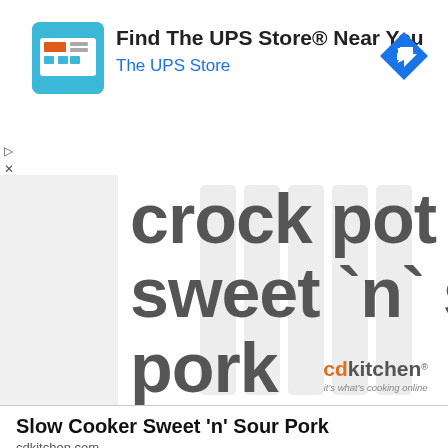[Figure (screenshot): Ad banner for The UPS Store with icon, title 'Find The UPS Store® Near You', subtitle 'The UPS Store', and a blue diamond navigation arrow icon]
[Figure (screenshot): Large cropped text reading 'crock pot sweet `n` so pork' overlaid on a white background with vertical bar decorations and cdkitchen logo]
Slow Cooker Sweet 'n' Sour Pork
cdkitchen.com